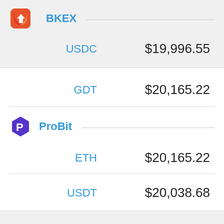[Figure (logo): BKEX exchange logo - red/orange diamond shape with white arrow]
BKEX
USDC   $19,996.55
GDT   $20,165.22
[Figure (logo): ProBit exchange logo - purple hexagon with P icon]
ProBit
ETH   $20,165.22
USDT   $20,038.68